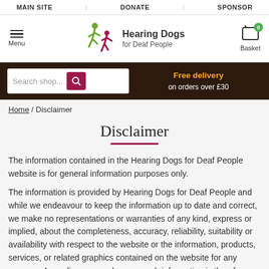MAIN SITE  |  DONATE  |  SPONSOR
[Figure (logo): Hearing Dogs for Deaf People logo with green and red dog figures]
Free delivery on orders over £30
Home / Disclaimer
Disclaimer
The information contained in the Hearing Dogs for Deaf People website is for general information purposes only.
The information is provided by Hearing Dogs for Deaf People and while we endeavour to keep the information up to date and correct, we make no representations or warranties of any kind, express or implied, about the completeness, accuracy, reliability, suitability or availability with respect to the website or the information, products, services, or related graphics contained on the website for any purpose. Any reliance you place on such information is therefore strictly at your own risk.